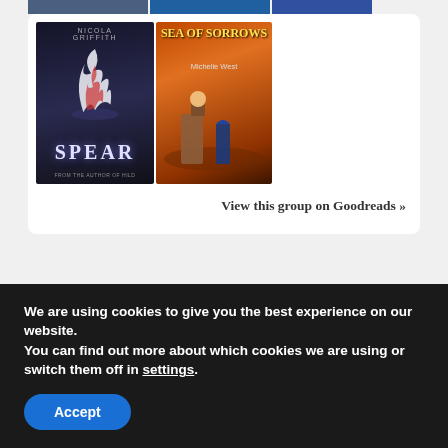[Figure (illustration): Two book covers side by side: 'Spear' by Nicola Griffith (dark cover with flame/cauldron) and 'Sea of Sorrows' by Michelle West (orange desert fantasy scene)]
View this group on Goodreads »
CATEGORIES
We are using cookies to give you the best experience on our website.
You can find out more about which cookies we are using or switch them off in settings.
Accept